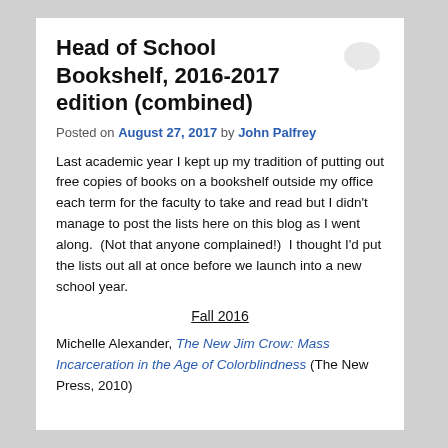Head of School Bookshelf, 2016-2017 edition (combined)
Posted on August 27, 2017 by John Palfrey
Last academic year I kept up my tradition of putting out free copies of books on a bookshelf outside my office each term for the faculty to take and read but I didn't manage to post the lists here on this blog as I went along.  (Not that anyone complained!)  I thought I'd put the lists out all at once before we launch into a new school year.
Fall 2016
Michelle Alexander, The New Jim Crow: Mass Incarceration in the Age of Colorblindness (The New Press, 2010)